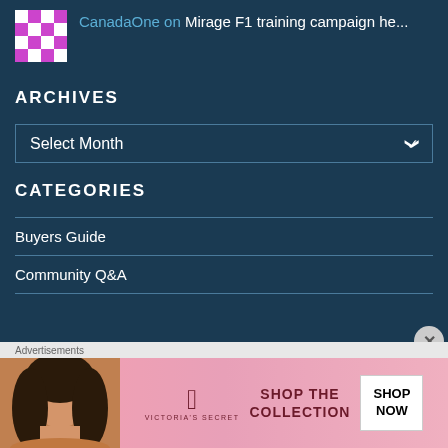[Figure (other): Checkerboard avatar icon with pink/magenta and white squares pattern]
CanadaOne on Mirage F1 training campaign he...
ARCHIVES
[Figure (other): Select Month dropdown widget]
CATEGORIES
Buyers Guide
Community Q&A
Advertisements
[Figure (other): Victoria's Secret advertisement banner: SHOP THE COLLECTION - SHOP NOW]